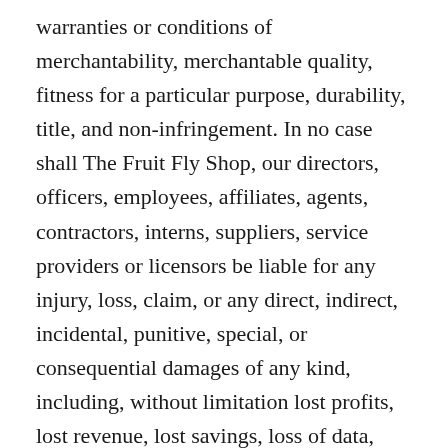warranties or conditions of merchantability, merchantable quality, fitness for a particular purpose, durability, title, and non-infringement. In no case shall The Fruit Fly Shop, our directors, officers, employees, affiliates, agents, contractors, interns, suppliers, service providers or licensors be liable for any injury, loss, claim, or any direct, indirect, incidental, punitive, special, or consequential damages of any kind, including, without limitation lost profits, lost revenue, lost savings, loss of data, replacement costs, or any similar damages, whether based in contract, tort (including negligence), strict liability or otherwise, arising from your use of any of the service or any products procured using the service, or for any other claim related in any way to your use